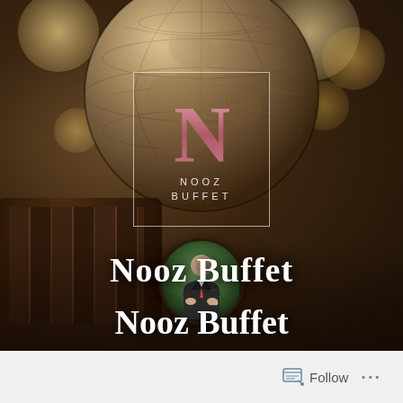[Figure (photo): Social media profile page for 'Nooz Buffet'. Dark atmospheric background featuring an antique globe, bokeh bokeh lights, and old books on the left. Center shows the Nooz Buffet logo — a large pink/rose letter N inside a white-bordered rectangle with 'NOOZ BUFFET' text below. A circular profile photo of a man in a suit holding a phone sits below the logo. The name 'Nooz Buffet' is displayed in large white serif text at the bottom of the image.]
Nooz Buffet
Follow ...